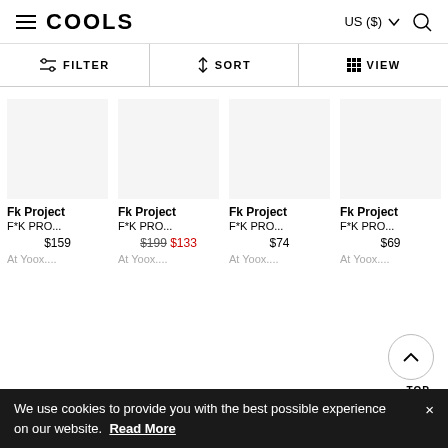COOLS | US ($) | Filter | Sort | View
Fk Project | F*K PRO... | $159 | At Yoox....
Fk Project | F*K PRO... | $199 $133 | At Yoox....
Fk Project | F*K PRO... | $74 | At Yoox....
Fk Project | F*K PRO... | $69 | At Yoox....
We use cookies to provide you with the best possible experience× on our website. Read More